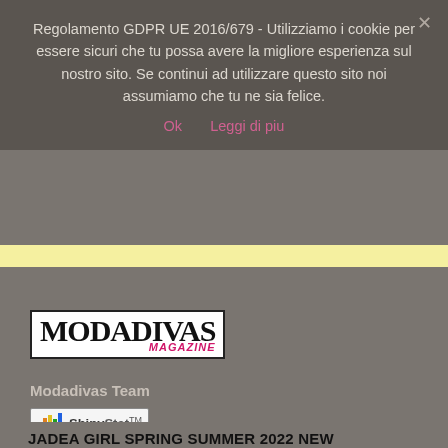Regolamento GDPR UE 2016/679 - Utilizziamo i cookie per essere sicuri che tu possa avere la migliore esperienza sul nostro sito. Se continui ad utilizzare questo sito noi assumiamo che tu ne sia felice.
Ok   Leggi di piu
[Figure (logo): Modadivas Magazine logo — black bold serif text MODADIVAS with pink italic MAGAZINE below, inside a rectangular border]
Modadivas Team
[Figure (logo): ShinyStat analytics badge with colorful bar chart icon and ShinyStat trademark text]
JADEA GIRL SPRING SUMMER 2022 NEW COLLECTION